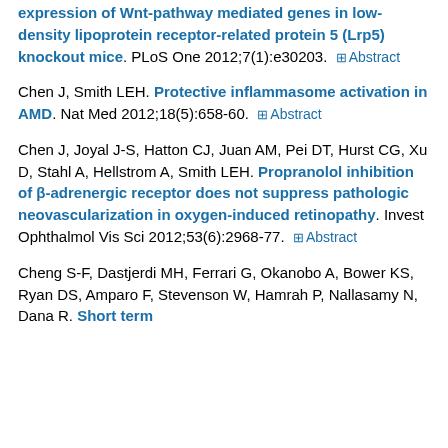expression of Wnt-pathway mediated genes in low-density lipoprotein receptor-related protein 5 (Lrp5) knockout mice. PLoS One 2012;7(1):e30203. [Abstract]
Chen J, Smith LEH. Protective inflammasome activation in AMD. Nat Med 2012;18(5):658-60. [Abstract]
Chen J, Joyal J-S, Hatton CJ, Juan AM, Pei DT, Hurst CG, Xu D, Stahl A, Hellstrom A, Smith LEH. Propranolol inhibition of β-adrenergic receptor does not suppress pathologic neovascularization in oxygen-induced retinopathy. Invest Ophthalmol Vis Sci 2012;53(6):2968-77. [Abstract]
Cheng S-F, Dastjerdi MH, Ferrari G, Okanobo A, Bower KS, Ryan DS, Amparo F, Stevenson W, Hamrah P, Nallasamy N, Dana R. Short term...